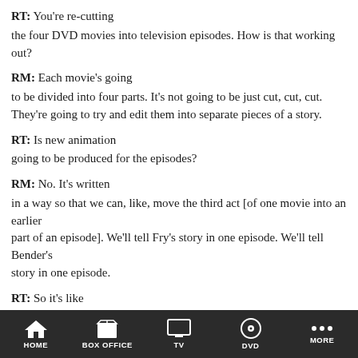RT: You're re-cutting the four DVD movies into television episodes.  How is that working out?
RM: Each movie's going to be divided into four parts.  It's not going to be just cut, cut, cut.  They're going to try and edit them into separate pieces of a story.
RT: Is new animation going to be produced for the episodes?
RM: No. It's written in a way so that we can, like, move the third act [of one movie into an earlier part of an episode]. We'll tell Fry's story in one episode.  We'll tell Bender's story in one episode.
RT: So it's like multiple perspectives on one long event.
RM: Right.  That's what we're talking about right now.  Hopefully, if enough people watch the
HOME  BOX OFFICE  TV  DVD  MORE